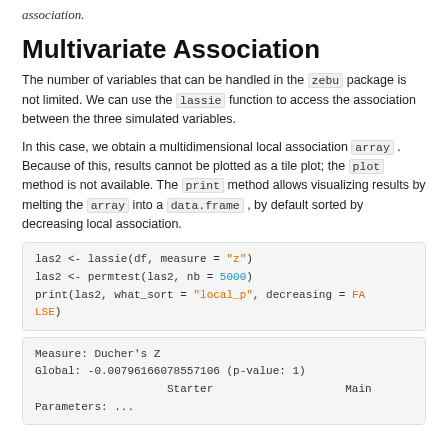association.
Multivariate Association
The number of variables that can be handled in the zebu package is not limited. We can use the lassie function to access the association between the three simulated variables.
In this case, we obtain a multidimensional local association array . Because of this, results cannot be plotted as a tile plot; the plot method is not available. The print method allows visualizing results by melting the array into a data.frame , by default sorted by decreasing local association.
las2 <- lassie(df, measure = "z")
las2 <- permtest(las2, nb = 5000)
print(las2, what_sort = "local_p", decreasing = FALSE)
Measure: Ducher's Z
Global: -0.00796166078557106 (p-value: 1)
                    Starter                    Main
Parameters: ...